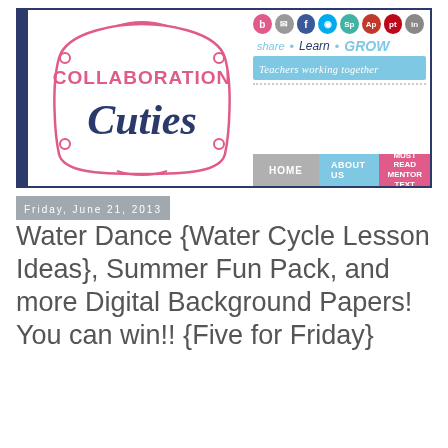[Figure (screenshot): Collaboration Cuties blog header with logo, social icons, tagline 'share • Learn • GROW / Teachers working together', and navigation bar with Home, About Us, Must Read links]
Friday, June 21, 2013
Water Dance {Water Cycle Lesson Ideas}, Summer Fun Pack, and more Digital Background Papers! You can win!! {Five for Friday}